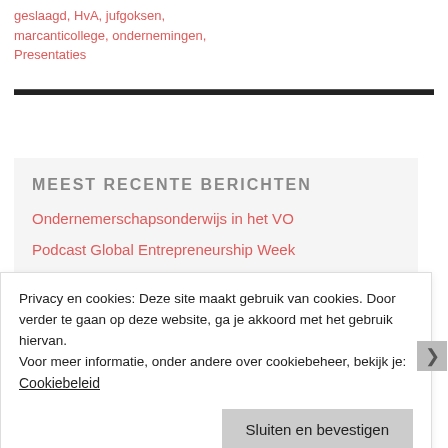geslaagd, HvA, jufgoksen, marcanticollege, ondernemingen, Presentaties
MEEST RECENTE BERICHTEN
Ondernemerschapsonderwijs in het VO
Podcast Global Entrepreneurship Week
Mijn eigen ondernemingstijdschrift...
Privacy en cookies: Deze site maakt gebruik van cookies. Door verder te gaan op deze website, ga je akkoord met het gebruik hiervan.
Voor meer informatie, onder andere over cookiebeheer, bekijk je:
Cookiebeleid
Sluiten en bevestigen